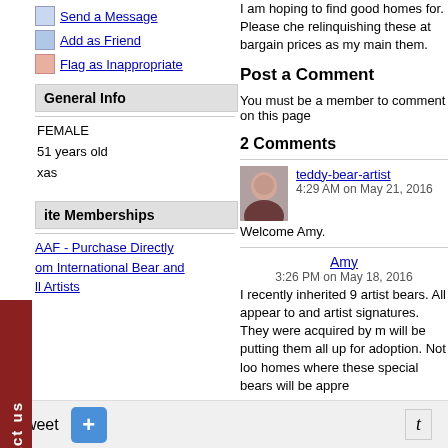Send a Message
Add as Friend
Flag as Inappropriate
General Info
FEMALE
51 years old
xas
ite Memberships
AAF - Purchase Directly om International Bear and ll Artists
I am hoping to find good homes for. Please che relinquishing these at bargain prices as my main them.
Post a Comment
You must be a member to comment on this page
2 Comments
teddy-bear-artist
4:29 AM on May 21, 2016
Welcome Amy.
Amy
3:26 PM on May 18, 2016
I recently inherited 9 artist bears. All appear to and artist signatures. They were acquired by m will be putting them all up for adoption. Not loo homes where these special bears will be appre
Tweet